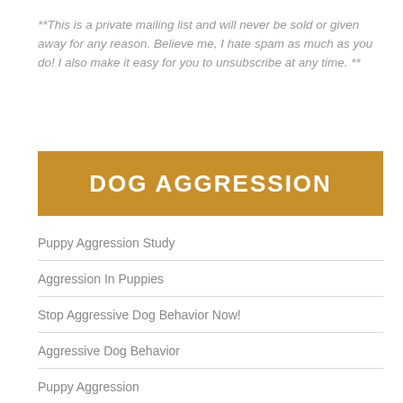**This is a private mailing list and will never be sold or given away for any reason. Believe me, I hate spam as much as you do! I also make it easy for you to unsubscribe at any time. **
DOG AGGRESSION
Puppy Aggression Study
Aggression In Puppies
Stop Aggressive Dog Behavior Now!
Aggressive Dog Behavior
Puppy Aggression